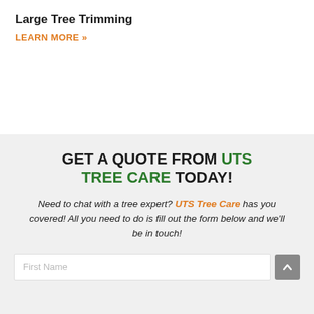Large Tree Trimming
LEARN MORE »
GET A QUOTE FROM UTS TREE CARE TODAY!
Need to chat with a tree expert? UTS Tree Care has you covered! All you need to do is fill out the form below and we'll be in touch!